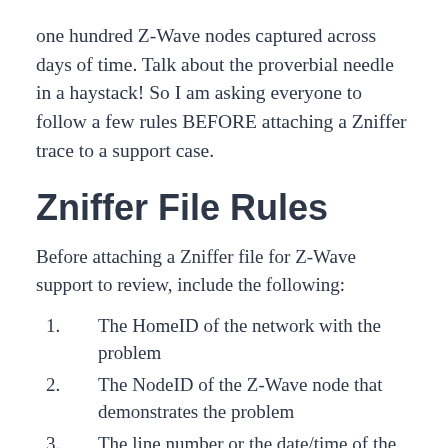one hundred Z-Wave nodes captured across days of time. Talk about the proverbial needle in a haystack! So I am asking everyone to follow a few rules BEFORE attaching a Zniffer trace to a support case.
Zniffer File Rules
Before attaching a Zniffer file for Z-Wave support to review, include the following:
The HomeID of the network with the problem
The NodeID of the Z-Wave node that demonstrates the problem
The line number or the date/time of the where the problem occurred (or a range)
The Security Keys of the Z-Wave network